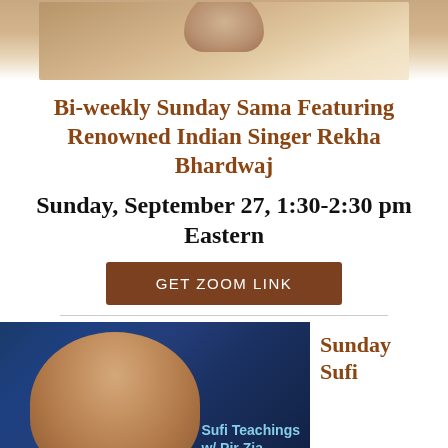[Figure (photo): Top portion of a photo showing hands or objects in warm brown and tan tones against a light background, cropped at top of page]
Bi-weekly Sunday Sama Featuring Renowned Indian Singer Rekha Bhardwaj
Sunday, September 27, 1:30-2:30 pm Eastern
GET ZOOM LINK
[Figure (photo): Portrait photo of a man on a blue background with text overlay reading 'Sufi Teachings w/ Pir Zia']
Sunday Sufi